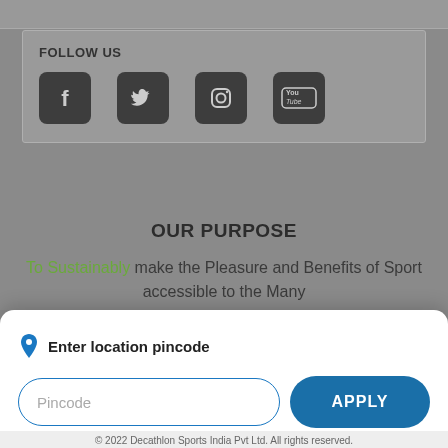FOLLOW US
[Figure (screenshot): Social media icons: Facebook, Twitter, Instagram, YouTube on dark rounded square backgrounds]
OUR PURPOSE
To Sustainably make the Pleasure and Benefits of Sport accessible to the Many
Enter location pincode
Pincode
APPLY
© 2022 Decathlon Sports India Pvt Ltd. All rights reserved.